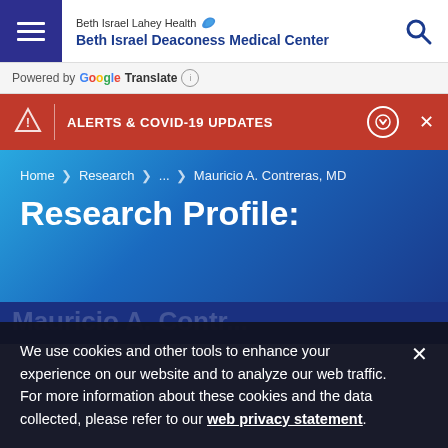Beth Israel Lahey Health Beth Israel Deaconess Medical Center
Powered by Google Translate
ALERTS & COVID-19 UPDATES
Home > Research > ... > Mauricio A. Contreras, MD
Research Profile:
We use cookies and other tools to enhance your experience on our website and to analyze our web traffic. For more information about these cookies and the data collected, please refer to our web privacy statement.